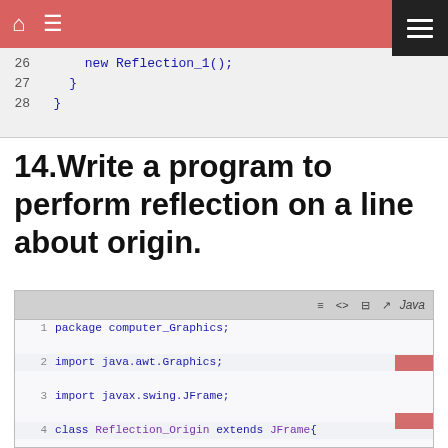Home Menu
[Figure (screenshot): Top code snippet showing lines 26-28 with closing braces and new Reflection_1() call]
14.Write a program to perform reflection on a line about origin.
[Figure (screenshot): Java code editor showing lines 1-16 of Reflection_Origin class with package declaration, imports, class definition, fields x1=50, y1=50, x2=150, y2=150, px1,px2,py1,py2, constructor, setTitle, setSize, setDefaultCloseOperation, px1 and px2 assignments]